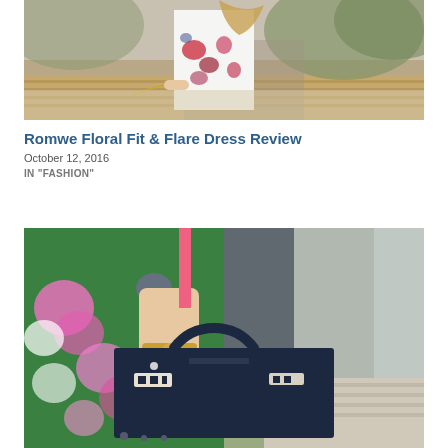[Figure (photo): Fashion blog photo of a woman wearing a floral fit and flare dress, running or walking outdoors, with trees and brick steps in background. Upper body partially cropped.]
Romwe Floral Fit & Flare Dress Review
October 12, 2016
IN "FASHION"
[Figure (photo): Fashion blog photo of a woman wearing a green floral dress and holding a dark navy structured handbag with gold hardware, outdoors with steps and a column in the background.]